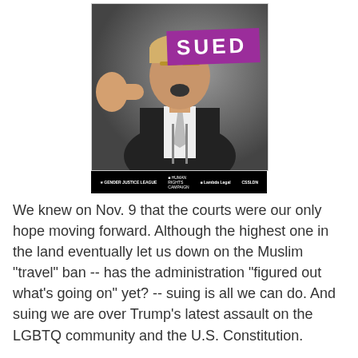[Figure (photo): Black and white photo of a man in a suit gesturing, with a purple banner reading 'SUED' covering his eyes. At the bottom, logos for Gender Justice League, Human Rights Campaign, Lambda Legal, and GSLDN appear on a black bar.]
We knew on Nov. 9 that the courts were our only hope moving forward. Although the highest one in the land eventually let us down on the Muslim "travel" ban -- has the administration "figured out what's going on" yet? -- suing is all we can do. And suing we are over Trump's latest assault on the LGBTQ community and the U.S. Constitution.